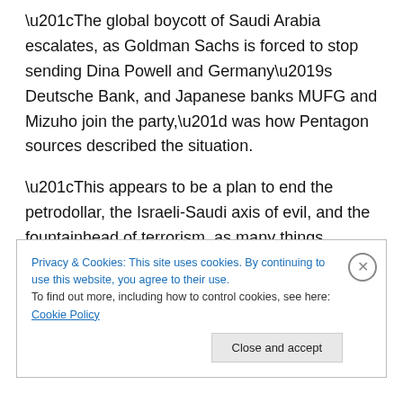“The global boycott of Saudi Arabia escalates, as Goldman Sachs is forced to stop sending Dina Powell and Germany’s Deutsche Bank, and Japanese banks MUFG and Mizuho join the party,” was how Pentagon sources described the situation.
“This appears to be a plan to end the petrodollar, the Israeli-Saudi axis of evil, and the fountainhead of terrorism, as many things converge to collapse the old financial system so the new Quantum Financial System and Global Currency Reset can be launched,” the sources
Privacy & Cookies: This site uses cookies. By continuing to use this website, you agree to their use.
To find out more, including how to control cookies, see here: Cookie Policy